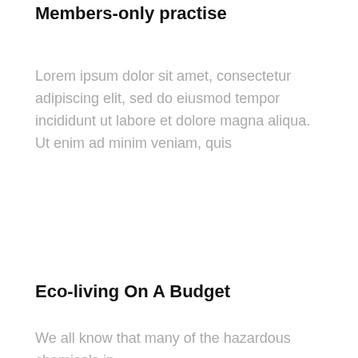Members-only practise
Lorem ipsum dolor sit amet, consectetur adipiscing elit, sed do eiusmod tempor incididunt ut labore et dolore magna aliqua. Ut enim ad minim veniam, quis
Eco-living On A Budget
We all know that many of the hazardous chemicals in